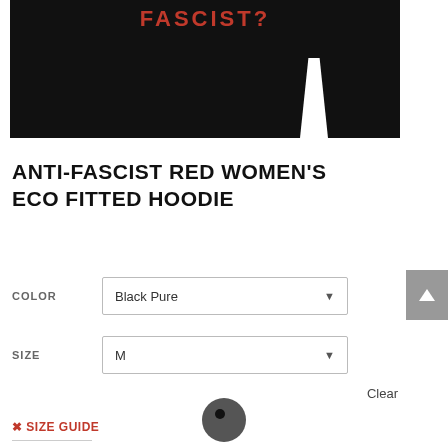[Figure (photo): Product photo of a black hoodie with red text partially visible at top reading 'FASCIST?' on a dark background]
ANTI-FASCIST RED WOMEN'S ECO FITTED HOODIE
COLOR  Black Pure
SIZE  M
Clear
✂ SIZE GUIDE